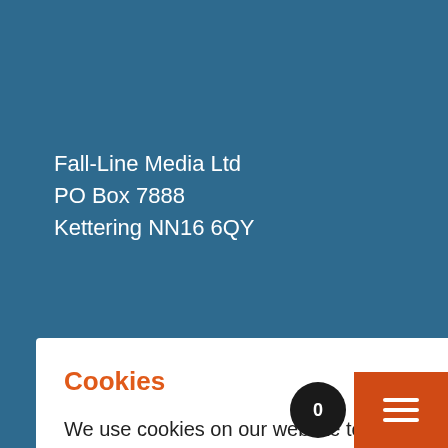Fall-Line Media Ltd
PO Box 7888
Kettering NN16 6QY
Cookies
We use cookies on our website to give you the most relevant experience by remembering your preferences and repeat visits. By clicking “Accept”, you consent to the use of ALL the cookies.
ACCEPT   Cookie settings
REJECT